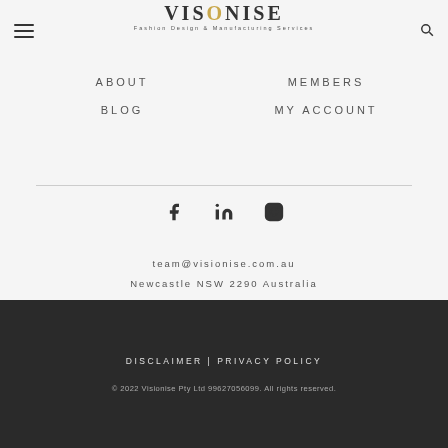[Figure (logo): Visionise logo with text 'VISIONISE Fashion Design & Manufacturing Services']
ABOUT
MEMBERS
BLOG
MY ACCOUNT
[Figure (illustration): Social media icons: Facebook, LinkedIn, Instagram]
team@visionise.com.au
Newcastle NSW 2290 Australia
DISCLAIMER | PRIVACY POLICY
© 2022 Visionise Pty Ltd 99627056099. All rights reserved.